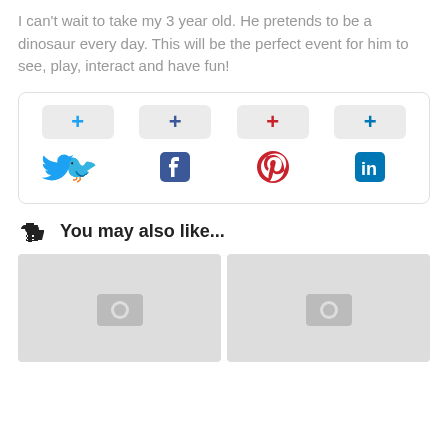I can't wait to take my 3 year old. He pretends to be a dinosaur every day. This will be the perfect event for him to see, play, interact and have fun!
[Figure (infographic): Social share buttons row: Twitter (+), Facebook (+), Pinterest (+), LinkedIn (+) with their respective icons below each button]
You may also like...
[Figure (photo): Two placeholder image thumbnails with camera icons side by side]